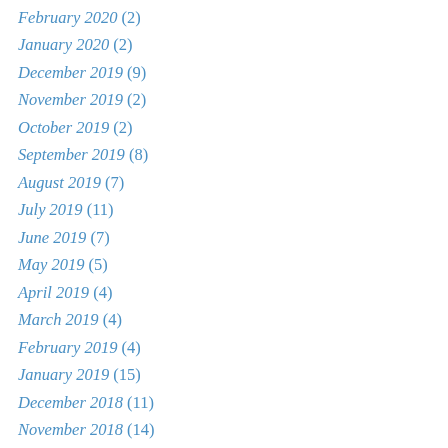February 2020 (2)
January 2020 (2)
December 2019 (9)
November 2019 (2)
October 2019 (2)
September 2019 (8)
August 2019 (7)
July 2019 (11)
June 2019 (7)
May 2019 (5)
April 2019 (4)
March 2019 (4)
February 2019 (4)
January 2019 (15)
December 2018 (11)
November 2018 (14)
October 2018 (9)
September 2018 (5)
August 2018 (5)
July 2018 (8)